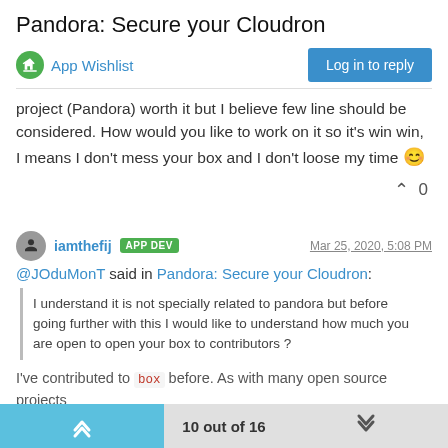Pandora: Secure your Cloudron
App Wishlist
Log in to reply
project (Pandora) worth it but I believe few line should be considered. How would you like to work on it so it's win win, I means I don't mess your box and I don't loose my time 😊
0
iamthefij APP DEV  Mar 25, 2020, 5:08 PM
@JOduMonT said in Pandora: Secure your Cloudron:
I understand it is not specially related to pandora but before going further with this I would like to understand how much you are open to open your box to contributors ?
I've contributed to box before. As with many open source projects
10 out of 16